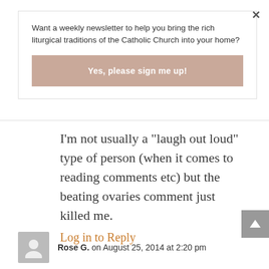Want a weekly newsletter to help you bring the rich liturgical traditions of the Catholic Church into your home?
Yes, please sign me up!
I'm not usually a "laugh out loud" type of person (when it comes to reading comments etc) but the beating ovaries comment just killed me.
Log in to Reply
Rose G. on August 25, 2014 at 2:20 pm